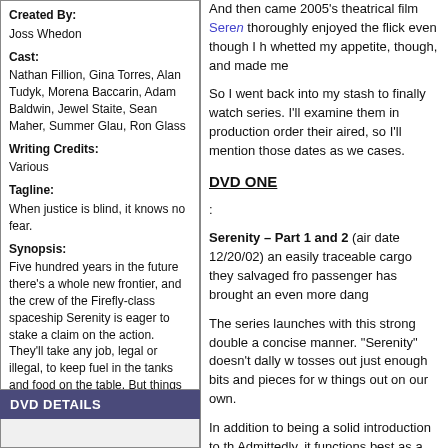Created By: Joss Whedon
Cast: Nathan Fillion, Gina Torres, Alan Tudyk, Morena Baccarin, Adam Baldwin, Jewel Staite, Sean Maher, Summer Glau, Ron Glass
Writing Credits: Various
Tagline: When justice is blind, it knows no fear.
Synopsis: Five hundred years in the future there's a whole new frontier, and the crew of the Firefly-class spaceship Serenity is eager to stake a claim on the action. They'll take any job, legal or illegal, to keep fuel in the tanks and food on the table. But things get a bit more complicated after they take on a passenger wanted by the new totalitarian Alliance regime. Now they find themselves on the run, desperate to steer clear of Alliance ships and the flesh-eating Reavers who live on the fringes of space.
Includes all 14 episodes; 3 of which were never broadcast on TV.
MPAA: Rated NR
DVD DETAILS
And then came 2005's theatrical film Serenity. I thoroughly enjoyed the flick even though I h… whetted my appetite, though, and made me…
So I went back into my stash to finally watch the series. I'll examine them in production order… their aired, so I'll mention those dates as well… cases.
DVD ONE:
Serenity – Part 1 and 2 (air date 12/20/02): an easily traceable cargo they salvaged from… passenger has brought an even more dang…
The series launches with this strong double… a concise manner. "Serenity" doesn't dally w… tosses out just enough bits and pieces for v… things out on our own.
In addition to being a solid introduction to th… Admittedly, it functions best as a series ove… with exposition. It musters a good story in it…
The Train Job (air date 9/20/02): "Mal has s… Alliance goods his crew has been hired to s… for the mining town of Paradiso."
Since "Serenity" clearly received a lot of tim… come as a letdown. Happily, "Train" keeps t… it provides a nice, fairly self-contained story… but it's a fine addition. More…